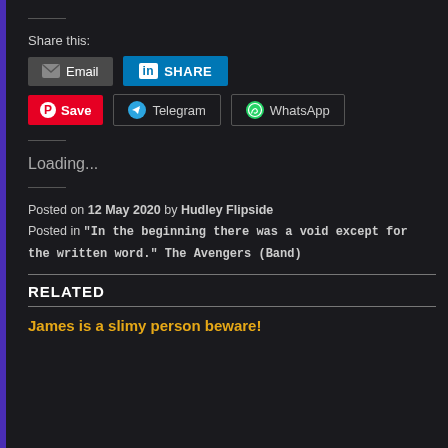Share this:
[Figure (screenshot): Social share buttons: Email, LinkedIn SHARE, Pinterest Save, Telegram, WhatsApp]
Loading...
Posted on 12 May 2020 by Hudley Flipside
Posted in "In the beginning there was a void except for the written word." The Avengers (Band)
RELATED
James is a slimy person beware!